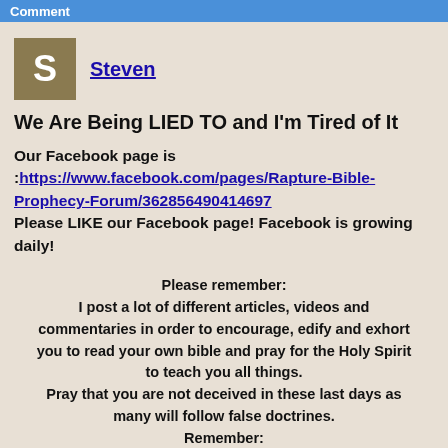Comment
Steven
We Are Being LIED TO and I'm Tired of It
Our Facebook page is :https://www.facebook.com/pages/Rapture-Bible-Prophecy-Forum/362856490414697 Please LIKE our Facebook page! Facebook is growing daily!
Please remember: I post a lot of different articles, videos and commentaries in order to encourage, edify and exhort you to read your own bible and pray for the Holy Spirit to teach you all things. Pray that you are not deceived in these last days as many will follow false doctrines. Remember: